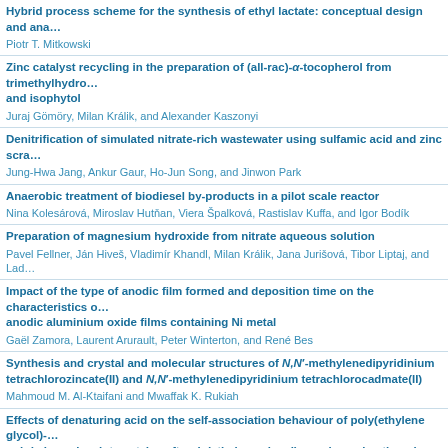Hybrid process scheme for the synthesis of ethyl lactate: conceptual design and ana...
Piotr T. Mitkowski
Zinc catalyst recycling in the preparation of (all-rac)-α-tocopherol from trimethylhydro... and isophytol
Juraj Gömöry, Milan Králik, and Alexander Kaszonyi
Denitrification of simulated nitrate-rich wastewater using sulfamic acid and zinc scra...
Jung-Hwa Jang, Ankur Gaur, Ho-Jun Song, and Jinwon Park
Anaerobic treatment of biodiesel by-products in a pilot scale reactor
Nina Kolesárová, Miroslav Hutňan, Viera Špalková, Rastislav Kuffa, and Igor Bodík
Preparation of magnesium hydroxide from nitrate aqueous solution
Pavel Fellner, Ján Hiveš, Vladimír Khandl, Milan Králik, Jana Jurišová, Tibor Liptaj, and Lad...
Impact of the type of anodic film formed and deposition time on the characteristics o... anodic aluminium oxide films containing Ni metal
Gaël Zamora, Laurent Arurault, Peter Winterton, and René Bes
Synthesis and crystal and molecular structures of N,N′-methylenedipyridinium tetrachlorozincate(II) and N,N′-methylenedipyridinium tetrachlorocadmate(II)
Mahmoud M. Al-Ktaifani and Mwaffak K. Rukiah
Effects of denaturing acid on the self-association behaviour of poly(ethylene glycol)-... poly(γ-benzyl L-glutamate)-graft-poly(ethylene glycol) copolymer in ethanol
Guo-Quan Zhu, Qiao-Chun Gao, Fa-Gang Wang, Guo-Chang Li, and Ping Wang
Properties of poly(γ-benzyl L-glutamate) membrane modified by polyurethane contain... carboxyl group
Guo-Quan Zhu, Fa-Gang Wang, Qiao-Chun Gao, Guo-Chang Li, and Ping Wang
Theoretical thermo-optical patterns relevant to glass crystallisation
Miroslav Kosifej, Vladimir Kouče, and Ján Majling